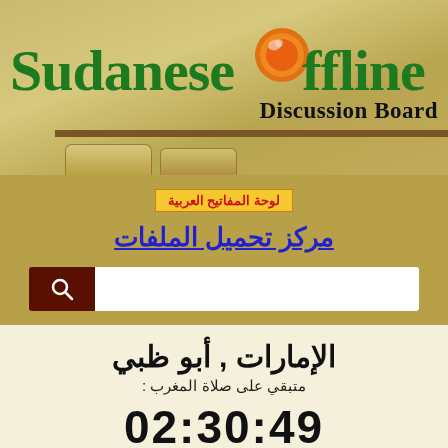[Figure (logo): Sudanese Offline Discussion Board logo with green serif text, orange ball as the 'O', and brown horizontal bar. Tan/gold background with decorative tabs at bottom.]
لوحة المفاتيح العربية
مركز تحميل الملفات
[Figure (other): Search bar with dark brown search icon box on left and white input field on right]
الإمارات , أبو ظبي
متبقي على صلاة المغرب :
02:30:49
صلاة المغرب الساعة 6:52 PM
| الإمارات |  | أبو ظبي |  |
| --- | --- | --- | --- |